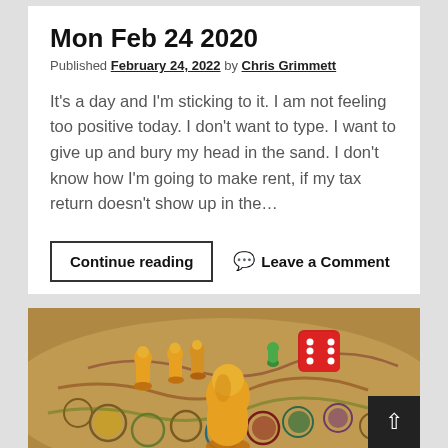Mon Feb 24 2020
Published February 24, 2022 by Chris Grimmett
It's a day and I'm sticking to it. I am not feeling too positive today. I don't want to type. I want to give up and bury my head in the sand. I don't know how I'm going to make rent, if my tax return doesn't show up in the…
Continue reading   Leave a Comment
[Figure (photo): A board game with yellow wooden pawn pieces and a red die on a colorful board with circles and snake-like patterns]